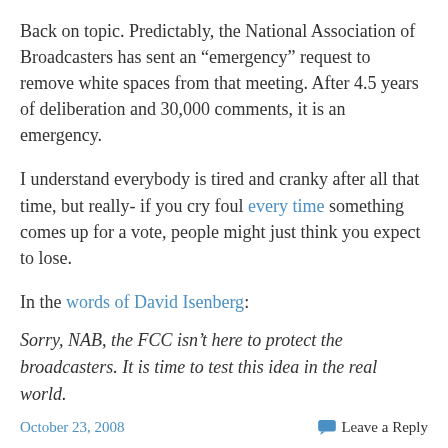Back on topic. Predictably, the National Association of Broadcasters has sent an “emergency” request to remove white spaces from that meeting. After 4.5 years of deliberation and 30,000 comments, it is an emergency.
I understand everybody is tired and cranky after all that time, but really- if you cry foul every time something comes up for a vote, people might just think you expect to lose.
In the words of David Isenberg:
Sorry, NAB, the FCC isn’t here to protect the broadcasters. It is time to test this idea in the real world.
October 23, 2008   Leave a Reply